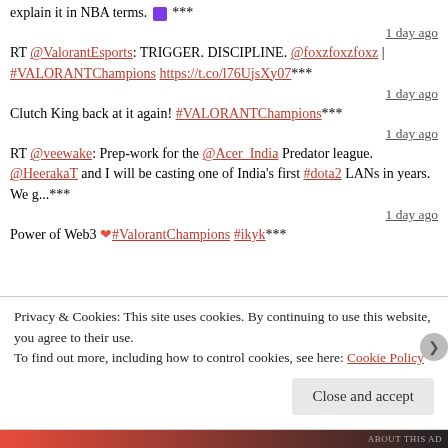explain it in NBA terms. 🟪 ***
1 day ago
RT @ValorantEsports: TRIGGER. DISCIPLINE. @foxzfoxzfoxz | #VALORANTChampions https://t.co/l76UjsXy07***
1 day ago
Clutch King back at it again! #VALORANTChampions***
1 day ago
RT @veewake: Prep-work for the @Acer_India Predator league. @HeerakaT and I will be casting one of India's first #dota2 LANs in years. We g...***
1 day ago
Power of Web3 ❤ #ValorantChampions #ikyk***
Privacy & Cookies: This site uses cookies. By continuing to use this website, you agree to their use.
To find out more, including how to control cookies, see here: Cookie Policy
Close and accept